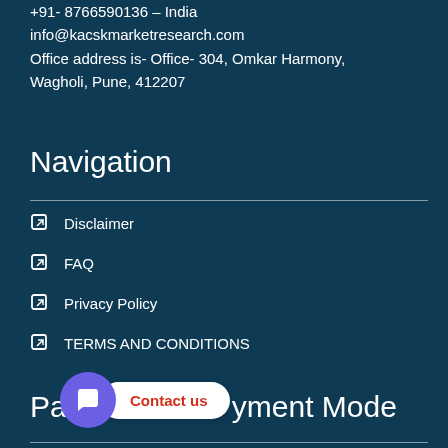+91- 8766590136 – India
info@kacskmarketresearch.com
Office address is- Office- 304, Omkar Harmony, Wagholi, Pune, 412207
Navigation
Disclaimer
FAQ
Privacy Policy
TERMS AND CONDITIONS
Payment Mode
[Figure (other): Chat widget overlay showing a purple chat bubble icon and a white pill-shaped 'Contact us' button with red text]